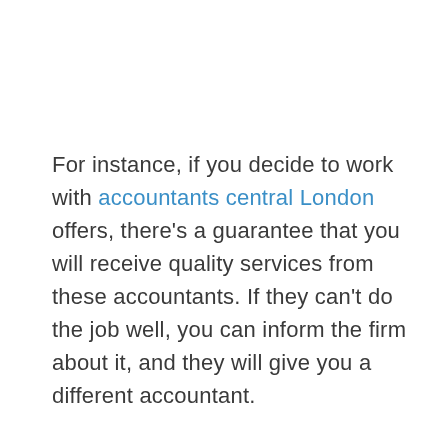For instance, if you decide to work with accountants central London offers, there's a guarantee that you will receive quality services from these accountants. If they can't do the job well, you can inform the firm about it, and they will give you a different accountant.